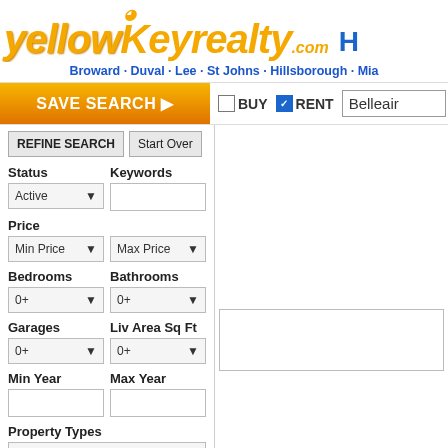[Figure (logo): Yellow Key Realty logo with stylized text and key icon]
Broward · Duval · Lee · St Johns · Hillsborough · Mia
SAVE SEARCH ▶
BUY  RENT  Belleair
REFINE SEARCH  Start Over
Status
Active ▼
Keywords
Price
Min Price ▼  Max Price ▼
Bedrooms
0+ ▼
Bathrooms
0+ ▼
Garages
0+ ▼
Liv Area Sq Ft
0+ ▼
Min Year
Max Year
Property Types
All Property Types ▼